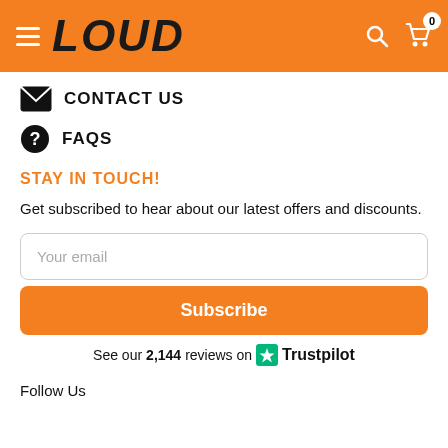LOUD
CONTACT US
FAQS
STAY IN TOUCH!
Get subscribed to hear about our latest offers and discounts.
Your email
Subscribe
See our 2,144 reviews on Trustpilot
Follow Us